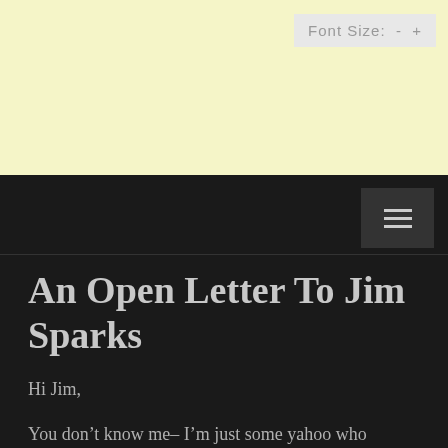Font Size:  -  +
An Open Letter To Jim Sparks
Hi Jim,
You don’t know me– I’m just some yahoo who comments on UFO stuff on the internet. I freely admit that everything I know about UFOs and extraterrestrials I learned by watching and listening to Youtube videos, yours included. I found your